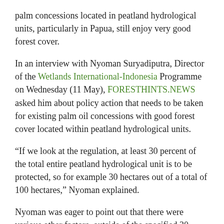palm concessions located in peatland hydrological units, particularly in Papua, still enjoy very good forest cover.
In an interview with Nyoman Suryadiputra, Director of the Wetlands International-Indonesia Programme on Wednesday (11 May), FORESTHINTS.NEWS asked him about policy action that needs to be taken for existing palm oil concessions with good forest cover located within peatland hydrological units.
“If we look at the regulation, at least 30 percent of the total entire peatland hydrological unit is to be protected, so for example 30 hectares out of a total of 100 hectares,” Nyoman explained.
Nyoman was eager to point out that there were various other factors, outside of the specified 30 percent, that needed to be considered in terms of protection.